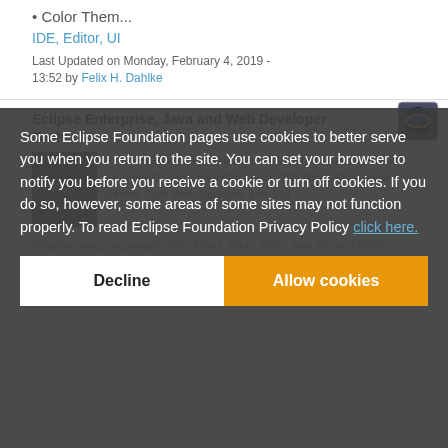• Color Them...
IDE, Editor, UI
Last Updated on Monday, February 4, 2019 - 13:52 by Felix H. Dahlke
Eclipse Enterprise, Java and Web Developer Tools
Enables Enterprise Java Bean, Java Enterprise Application, Fragments, and Connector, Java Web Application, Java Server, Java Web Services, and Tag ...
Programming Languages, IDE, Editor, Web, XML, Java EE and OSGi Enterprise development tools...
Last Updated on Friday, July 15, 2022 - 10:22 by Nitin Dahyabhai
Some Eclipse Foundation pages use cookies to better serve you when you return to the site. You can set your browser to notify you before you receive a cookie or turn off cookies. If you do so, however, some areas of some sites may not function properly. To read Eclipse Foundation Privacy Policy click here.